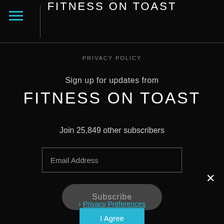FITNESS ON TOAST
PRIVACY POLICY
Sign up for updates from
FITNESS ON TOAST
Join 25,849 other subscribers
Email Address
Subscribe
Privacy Preferences
I Agree